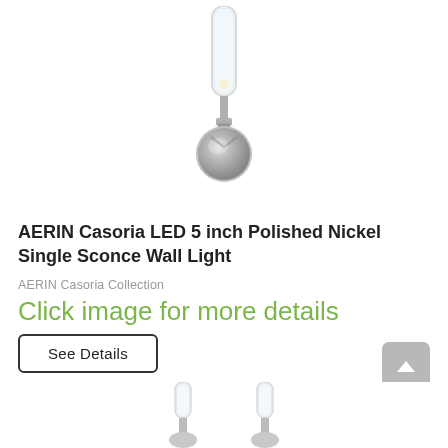[Figure (photo): Wall sconce light fixture — AERIN Casoria LED polished nickel single sconce with cylindrical glass shade and circular wall mount, shown on white background]
AERIN Casoria LED 5 inch Polished Nickel Single Sconce Wall Light
AERIN Casoria Collection
Click image for more details
See Details
[Figure (photo): Partial bottom thumbnails of additional wall sconce product images]